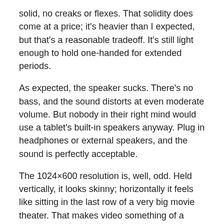solid, no creaks or flexes. That solidity does come at a price; it's heavier than I expected, but that's a reasonable tradeoff. It's still light enough to hold one-handed for extended periods.
As expected, the speaker sucks. There's no bass, and the sound distorts at even moderate volume. But nobody in their right mind would use a tablet's built-in speakers anyway. Plug in headphones or external speakers, and the sound is perfectly acceptable.
The 1024×600 resolution is, well, odd. Held vertically, it looks skinny; horizontally it feels like sitting in the last row of a very big movie theater. That makes video something of a peculiar experience. The Fire plays video surprisingly well, at least in my limited tests, but the aspect ratio doesn't quite fit either standard or high definition content.